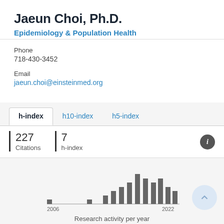Jaeun Choi, Ph.D.
Epidemiology & Population Health
Phone
718-430-3452
Email
jaeun.choi@einsteinmed.org
h-index	h10-index	h5-index
227 Citations	7 h-index
[Figure (bar-chart): Research activity per year]
Research activity per year